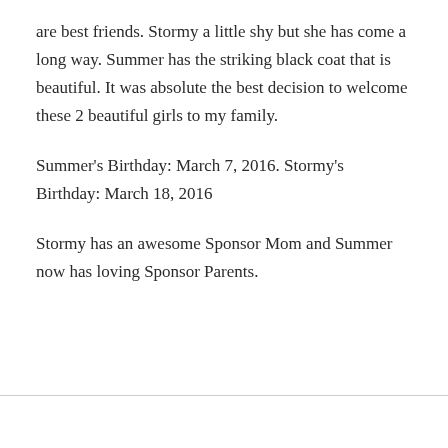are best friends. Stormy a little shy but she has come a long way. Summer has the striking black coat that is beautiful. It was absolute the best decision to welcome these 2 beautiful girls to my family.
Summer's Birthday: March 7, 2016. Stormy's Birthday: March 18, 2016
Stormy has an awesome Sponsor Mom and Summer now has loving Sponsor Parents.